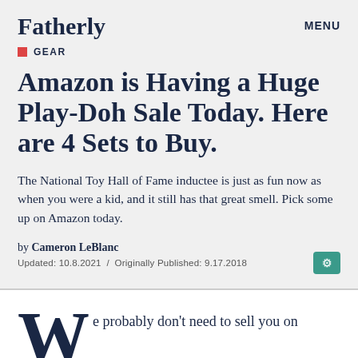Fatherly   MENU
GEAR
Amazon is Having a Huge Play-Doh Sale Today. Here are 4 Sets to Buy.
The National Toy Hall of Fame inductee is just as fun now as when you were a kid, and it still has that great smell. Pick some up on Amazon today.
by Cameron LeBlanc
Updated: 10.8.2021 / Originally Published: 9.17.2018
e probably don't need to sell you on